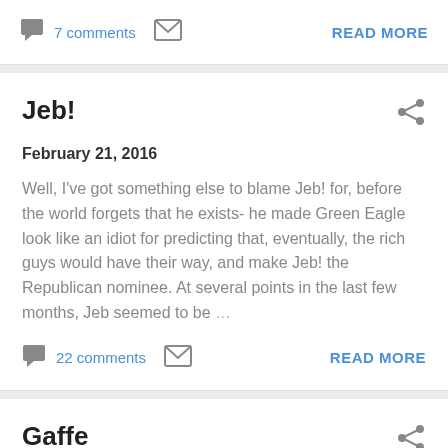7 comments  READ MORE
Jeb!
February 21, 2016
Well, I've got something else to blame Jeb! for, before the world forgets that he exists- he made Green Eagle look like an idiot for predicting that, eventually, the rich guys would have their way, and make Jeb! the Republican nominee. At several points in the last few months, Jeb seemed to be ...
22 comments  READ MORE
Gaffe